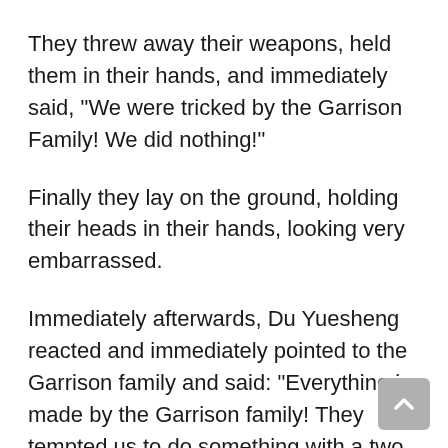They threw away their weapons, held them in their hands, and immediately said, “We were tricked by the Garrison Family! We did nothing!”
Finally they lay on the ground, holding their heads in their hands, looking very embarrassed.
Immediately afterwards, Du Yuesheng reacted and immediately pointed to the Garrison family and said: “Everything is made by the Garrison family! They tempted us to do something with a two billion project! We are really confused! I don’t know! We were wrong. We were wrong!”
After the words fell, Du Yuesheng’s several big brothers also followed James’s way, lying on the